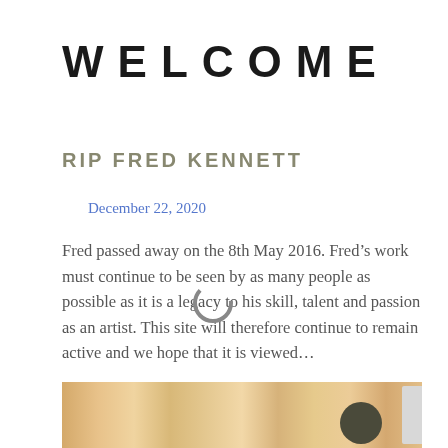WELCOME
RIP FRED KENNETT
December 22, 2020
Fred passed away on the 8th May 2016. Fred’s work must continue to be seen by as many people as possible as it is a legacy to his skill, talent and passion as an artist. This site will therefore continue to remain active and we hope that it is viewed…
[Figure (photo): Wood panel background with a dark circular knob and a light gray rectangle at the right edge]